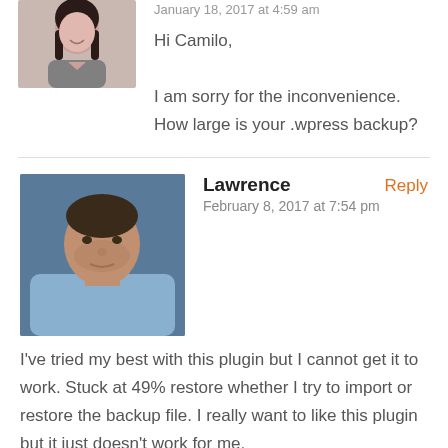January 18, 2017 at 4:59 am
Hi Camilo,

I am sorry for the inconvenience. How large is your .wpress backup?
Lawrence
February 8, 2017 at 7:54 pm
I've tried my best with this plugin but I cannot get it to work. Stuck at 49% restore whether I try to import or restore the backup file. I really want to like this plugin but it just doesn't work for me.

My website backup is only 295Mb so it